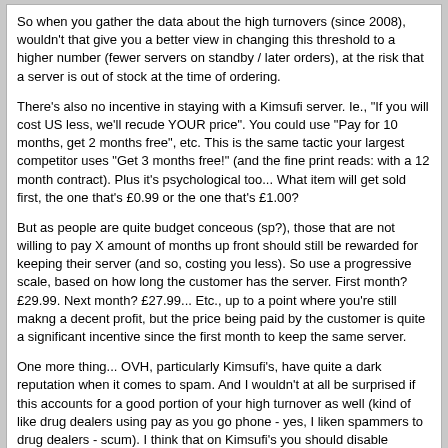So when you gather the data about the high turnovers (since 2008), wouldn't that give you a better view in changing this threshold to a higher number (fewer servers on standby / later orders), at the risk that a server is out of stock at the time of ordering.

There's also no incentive in staying with a Kimsufi server. Ie., "If you will cost US less, we'll recude YOUR price". You could use "Pay for 10 months, get 2 months free", etc. This is the same tactic your largest competitor uses "Get 3 months free!" (and the fine print reads: with a 12 month contract). Plus it's psychological too... What item will get sold first, the one that's £0.99 or the one that's £1.00?

But as people are quite budget conceous (sp?), those that are not willing to pay X amount of months up front should still be rewarded for keeping their server (and so, costing you less). So use a progressive scale, based on how long the customer has the server. First month? £29.99. Next month? £27.99... Etc., up to a point where you're still makng a decent profit, but the price being paid by the customer is quite a significant incentive since the first month to keep the same server.

One more thing... OVH, particularly Kimsufi's, have quite a dark reputation when it comes to spam. And I wouldn't at all be surprised if this accounts for a good portion of your high turnover as well (kind of like drug dealers using pay as you go phone - yes, I liken spammers to drug dealers - scum). I think that on Kimsufi's you should disable outgoing SMTP/SMTPS/Delivery ports by default and require a setup fee / signed contract (with proof of identity) to enable these outgoing ports. Especially if you're targetting gamers, they wouldn't need their own private mail server. AND, keep an eye out on Spamhaus (OVH is listed #5 worldwide) and SpamCop (OVH is #4, Kimsufi is #3 worldwide) because you are basically advertising to spammers... (They see you listed there and think "I'll use OVH!". You don't want a potential customer to say "Oh OVH... Yeah, I've heard of them before when I got spam. No thanks!".
unclebob
07-08-2009, 11:51
To reduce turnover: